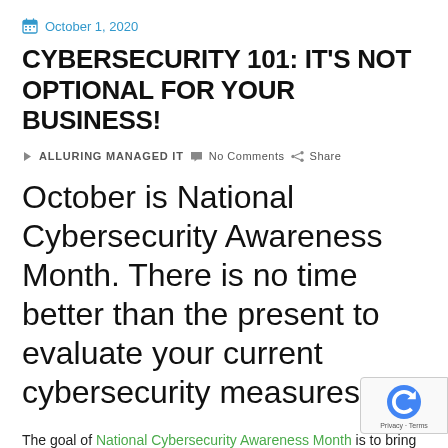October 1, 2020
CYBERSECURITY 101: IT'S NOT OPTIONAL FOR YOUR BUSINESS!
ALLURING MANAGED IT   No Comments   Share
October is National Cybersecurity Awareness Month. There is no time better than the present to evaluate your current cybersecurity measures.
The goal of National Cybersecurity Awareness Month is to bring awareness and a clear understanding to the importance of online presence.  Let's start with a simple question.  If you were to